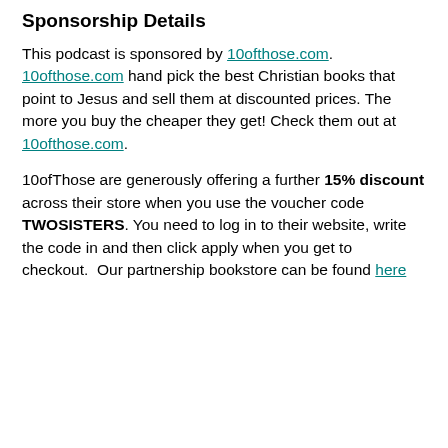Sponsorship Details
This podcast is sponsored by 10ofthose.com. 10ofthose.com hand pick the best Christian books that point to Jesus and sell them at discounted prices. The more you buy the cheaper they get! Check them out at 10ofthose.com.
10ofThose are generously offering a further 15% discount across their store when you use the voucher code TWOSISTERS. You need to log in to their website, write the code in and then click apply when you get to checkout. Our partnership bookstore can be found here